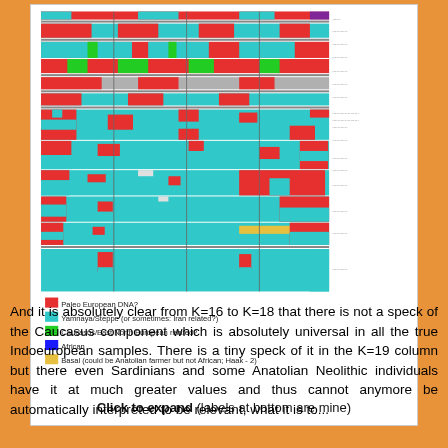[Figure (stacked-bar-chart): Population admixture chart showing K components across multiple K values. Colors: red (Paleo European DNA?), cyan (Yamnaya/Steppe), green (Caucasus/North European related), blue (African?), yellow (Basal). Labels at bottom are annotated by the author.]
Click to expand (labels at bottom are mine)
And it is absolutely clear from K=16 to K=18 that there is not a speck of the Caucasus component which is absolutely universal in all the true Indoeuropean samples. There is a tiny speck of it in the K=19 column but there even Sardinians and some Anatolian Neolithic individuals have it at much greater values and thus cannot anymore be automatically interpreted as relevant, what it is to...